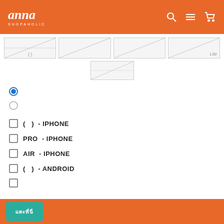Anna Shopaholic
[Figure (screenshot): Four image thumbnails with placeholder diagonal lines, one showing 'Lite' text]
[Figure (screenshot): One image thumbnail with placeholder diagonal lines]
Radio button selected (filled blue)
Radio button empty
( ) - IPHONE
PRO - IPHONE
AIR - IPHONE
( ) - ANDROID
Checkbox empty
Orange bar with teal button